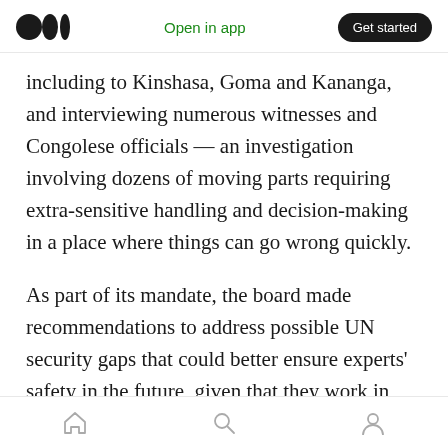Open in app | Get started
including to Kinshasa, Goma and Kananga, and interviewing numerous witnesses and Congolese officials — an investigation involving dozens of moving parts requiring extra-sensitive handling and decision-making in a place where things can go wrong quickly.
As part of its mandate, the board made recommendations to address possible UN security gaps that could better ensure experts' safety in the future, given that they work in high-risk zones. In the Congo case, the board recommended, among other actions: strengthen
Home | Search | Profile